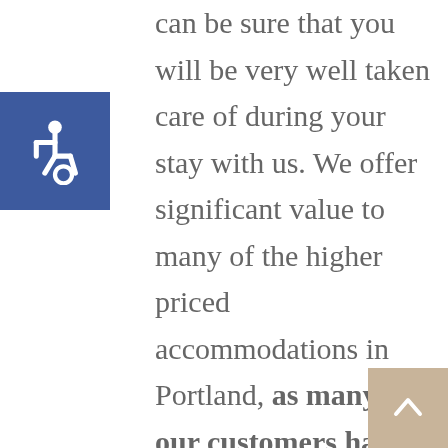[Figure (illustration): Blue square accessibility icon with white wheelchair symbol]
can be sure that you will be very well taken care of during your stay with us. We offer significant value to many of the higher priced accommodations in Portland, as many of our customers have gladly shared reviews and testimonials on our website and social media properties.

Join our long list of satisfied customers and let Portland Nordic Inn and Suites be your home away from home. We are centrally located and just a short drive from downtown Portland, with easy